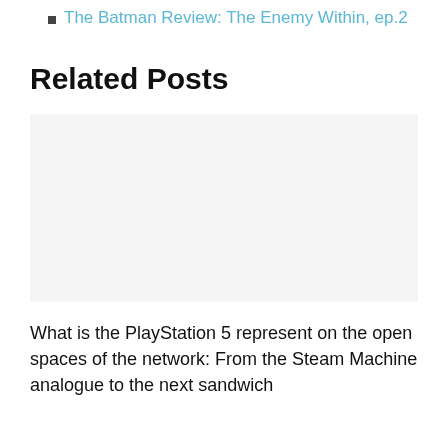The Batman Review: The Enemy Within, ep.2
Related Posts
[Figure (photo): Image placeholder for a related post thumbnail]
What is the PlayStation 5 represent on the open spaces of the network: From the Steam Machine analogue to the next sandwich